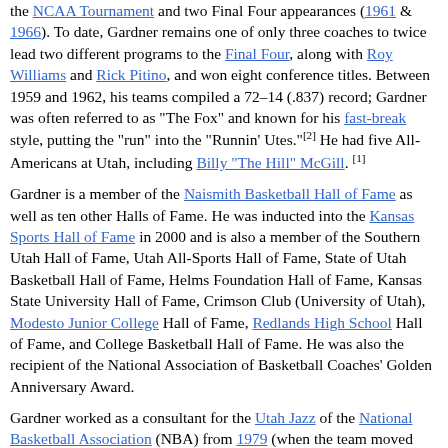the NCAA Tournament and two Final Four appearances (1961 & 1966). To date, Gardner remains one of only three coaches to twice lead two different programs to the Final Four, along with Roy Williams and Rick Pitino, and won eight conference titles. Between 1959 and 1962, his teams compiled a 72–14 (.837) record; Gardner was often referred to as "The Fox" and known for his fast-break style, putting the "run" into the "Runnin' Utes."[2] He had five All-Americans at Utah, including Billy "The Hill" McGill.[1]
Gardner is a member of the Naismith Basketball Hall of Fame as well as ten other Halls of Fame. He was inducted into the Kansas Sports Hall of Fame in 2000 and is also a member of the Southern Utah Hall of Fame, Utah All-Sports Hall of Fame, State of Utah Basketball Hall of Fame, Helms Foundation Hall of Fame, Kansas State University Hall of Fame, Crimson Club (University of Utah), Modesto Junior College Hall of Fame, Redlands High School Hall of Fame, and College Basketball Hall of Fame. He was also the recipient of the National Association of Basketball Coaches' Golden Anniversary Award.
Gardner worked as a consultant for the Utah Jazz of the National Basketball Association (NBA) from 1979 (when the team moved from New Orleans) until 1995. He is credited with discovering point guard John Stockton from Gonzaga University while working for the Jazz.[5]